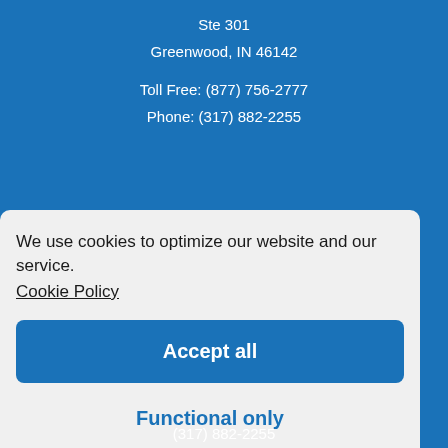Ste 301
Greenwood, IN 46142

Toll Free: (877) 756-2777
Phone: (317) 882-2255
We use cookies to optimize our website and our service. Cookie Policy
Accept all
Functional only
View preferences
(317) 882-2255